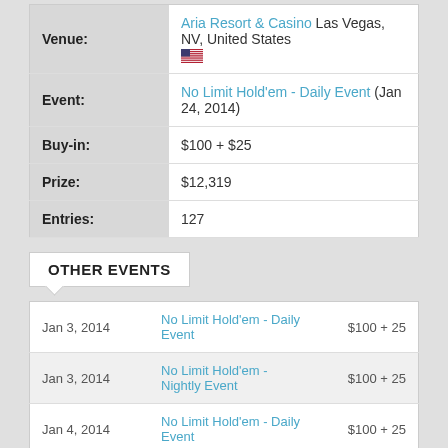| Field | Value |
| --- | --- |
| Venue | Aria Resort & Casino Las Vegas, NV, United States 🇺🇸 |
| Event | No Limit Hold'em - Daily Event (Jan 24, 2014) |
| Buy-in | $100 + $25 |
| Prize | $12,319 |
| Entries | 127 |
OTHER EVENTS
| Date | Event | Buy-in |
| --- | --- | --- |
| Jan 3, 2014 | No Limit Hold'em - Daily Event | $100 + 25 |
| Jan 3, 2014 | No Limit Hold'em - Nightly Event | $100 + 25 |
| Jan 4, 2014 | No Limit Hold'em - Daily Event | $100 + 25 |
| Jan 4, 2014 | No Limit Hold'em - Nightly Event | $100 + 25 |
| Jan 5, 2014 | No Limit Hold'em - Daily Event | $100 + 25 |
| Jan 5, 2014 | No Limit Hold'em - Nightly Event | $100 + 25 |
| Jan 6, 2014 | No Limit Hold'em - Daily Event | $100 + 25 |